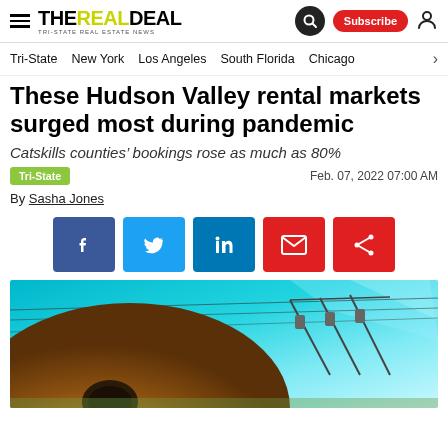The Real Deal — Tri-State Real Estate News
Tri-State  New York  Los Angeles  South Florida  Chicago
These Hudson Valley rental markets surged most during pandemic
Catskills counties' bookings rose as much as 80%
Tri-State   Feb. 07, 2022 07:00 AM
By Sasha Jones
[Figure (other): Social sharing buttons: Facebook, Twitter, LinkedIn, Email, Share]
[Figure (photo): Outdoor dome structure under a bright teal/turquoise sky with ski lift or farm equipment in the background]